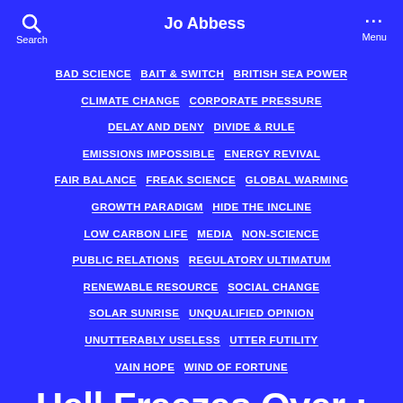Jo Abbess
BAD SCIENCE  BAIT & SWITCH  BRITISH SEA POWER  CLIMATE CHANGE  CORPORATE PRESSURE  DELAY AND DENY  DIVIDE & RULE  EMISSIONS IMPOSSIBLE  ENERGY REVIVAL  FAIR BALANCE  FREAK SCIENCE  GLOBAL WARMING  GROWTH PARADIGM  HIDE THE INCLINE  LOW CARBON LIFE  MEDIA  NON-SCIENCE  PUBLIC RELATIONS  REGULATORY ULTIMATUM  RENEWABLE RESOURCE  SOCIAL CHANGE  SOLAR SUNRISE  UNQUALIFIED OPINION  UNUTTERABLY USELESS  UTTER FUTILITY  VAIN HOPE  WIND OF FORTUNE
Hell Freezes Over : BBC